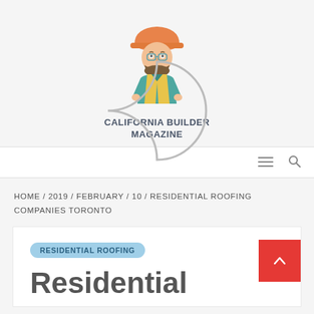[Figure (logo): California Builder Magazine logo: illustrated construction worker with orange hard hat, teal shirt, and yellow vest, above bold text 'CALIFORNIA BUILDER MAGAZINE']
CALIFORNIA BUILDER MAGAZINE
[Figure (other): Loading spinner - partial circle arc in grey]
HOME / 2019 / FEBRUARY / 10 / RESIDENTIAL ROOFING COMPANIES TORONTO
RESIDENTIAL ROOFING
Residential